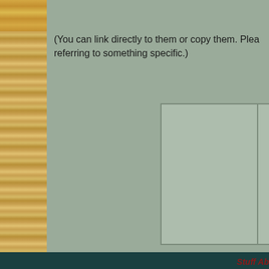(You can link directly to them or copy them. Plea... referring to something specific.)
[Figure (other): Empty placeholder image box with table-like border, two columns, sage green background]
Stuff Ab...
Best viewed with ya resolution set to 1024 × 768 pixels or p... Even with my site redesign, you should still be able to use old Net... OmniWeb 5.1, Aurora(Fox) and Pale Moon 20, although Pale M... version 27.) Some browsers may not display the images with alpha... 6). (Firefox, Pale Moon and Safari may give you error messages a... There are no plan...